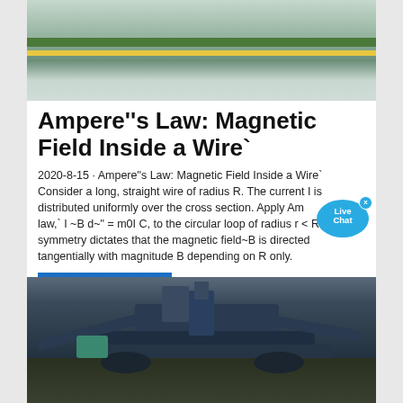[Figure (photo): Top portion of an industrial floor with green and yellow stripes visible]
Ampere''s Law: Magnetic Field Inside a Wire`
2020-8-15 · Ampere"s Law: Magnetic Field Inside a Wire` Consider a long, straight wire of radius R. The current I is distributed uniformly over the cross section. Apply Ampere law,` I ~B d~" = m0I C, to the circular loop of radius r < R. The symmetry dictates that the magnetic field~B is directed tangentially with magnitude B depending on R only.
Dapatkan harganya
[Figure (photo): Large industrial mining excavator machine photographed from aerial/elevated angle on dark terrain]